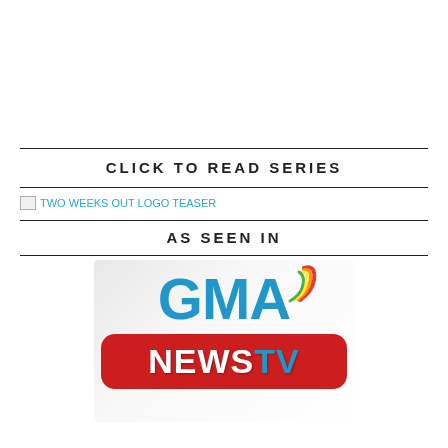CLICK TO READ SERIES
[Figure (logo): TWO WEEKS OUT LOGO TEASER - broken image placeholder with cyan text link]
AS SEEN IN
[Figure (logo): GMA News TV logo - blue GMA letters with colorful heart icon above, red rounded rectangle NEWS TV banner below]